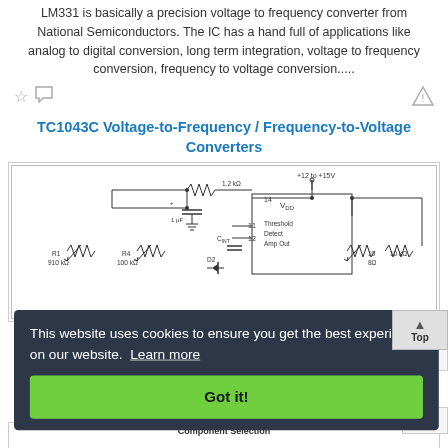LM331 is basically a precision voltage to frequency converter from National Semiconductors. The IC has a hand full of applications like analog to digital conversion, long term integration, voltage to frequency conversion, frequency to voltage conversion.....
TC1043C Voltage-to-Frequency / Frequency-to-Voltage Converters
[Figure (circuit-diagram): Circuit diagram showing TC1043C IC with components including R1 (910 kΩ), R4 (100 kΩ), D2, C_INT capacitor, 1.2 kΩ resistor, 1 µF capacitor, VDD supply (+12 to +15V), Threshold Detect Amp Out pins 11 and 12, pin 14, pin 10, 10 kΩ resistors, Output Frequency and Digital Ground labels]
This website uses cookies to ensure you get the best experience on our website. Learn more
Got it!
Component Selection